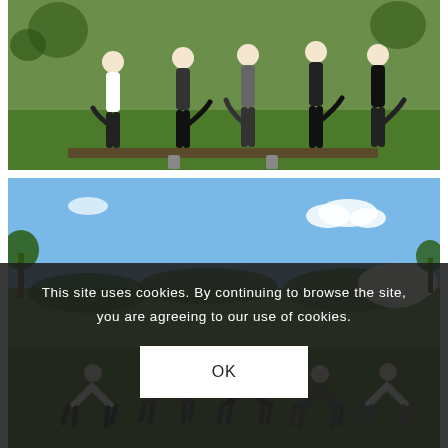[Figure (photo): Group of people standing on one leg outdoors on grass, doing a yoga tree pose pose on a plank with springs, green grass background]
[Figure (photo): Group of people doing a downward dog yoga pose in a field with blue sky and trees in the background]
This site uses cookies. By continuing to browse the site, you are agreeing to our use of cookies.
OK